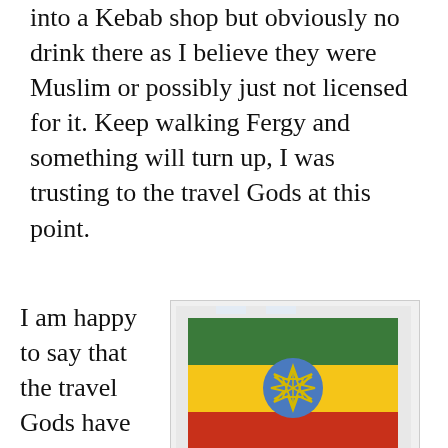into a Kebab shop but obviously no drink there as I believe they were Muslim or possibly just not licensed for it. Keep walking Fergy and something will turn up, I was trusting to the travel Gods at this point.
I am happy to say that the travel Gods have gone
[Figure (photo): Photo of the new Ethiopian flag hanging on a white wall, showing three horizontal stripes: green on top, yellow in the middle, and red on the bottom, with a blue circle in the center containing a yellow Star of David-like emblem.]
The new Ethiopian flag.